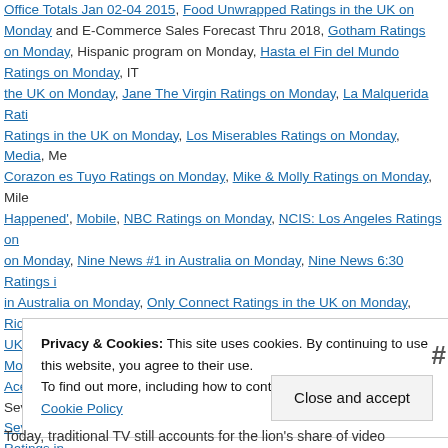Office Totals Jan 02-04 2015, Food Unwrapped Ratings in the UK on Monday and E-Commerce Sales Forecast Thru 2018, Gotham Ratings on Monday, Hispanic program on Monday, Hasta el Fin del Mundo Ratings on Monday, IT the UK on Monday, Jane The Virgin Ratings on Monday, La Malquerida Ratings in the UK on Monday, Los Miserables Ratings on Monday, Media, Mi Corazon es Tuyo Ratings on Monday, Mike & Molly Ratings on Monday, Miles Happened', Mobile, NBC Ratings on Monday, NCIS: Los Angeles Ratings on Monday, Nine News #1 in Australia on Monday, Nine News 6:30 Ratings in Australia on Monday, Only Connect Ratings in the UK on Monday, Rich, UK on Monday, SBS Ratings in Australia on Monday, Scorpion #1 on Monday Acero #1 on Telemundo on Monday, Señora Acero Ratings on Monday, Seven News/Today Tonight Ratings in Australia on Monday, Seven Ratings in Ratings on Monday, State of Affairs Ratings on Monday, Television Ratings on Ten Ratings in Australia on Monday, The Bachelor Ratings on Monday, The Ratings on Monday, The Undateables Ratings on Monday, Tierra de Reyes UK & Australia TV Ratings on Monday, UK e-mailers Open On Mobile, UK TV Ratings in the UK on Monday, Wimbledon Ratings in the UK on Monday | Lea
Privacy & Cookies: This site uses cookies. By continuing to use this website, you agree to their use.
To find out more, including how to control cookies, see here: Our Cookie Policy
Today, traditional TV still accounts for the lion's share of video